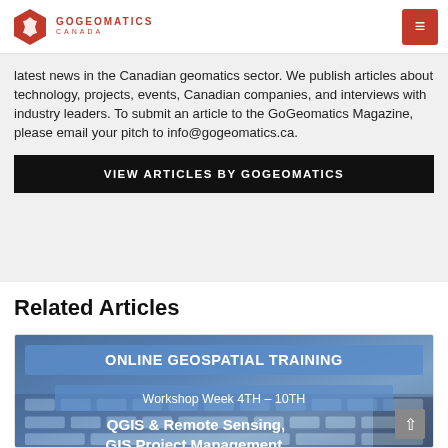GOGEOMATICS CANADA
latest news in the Canadian geomatics sector. We publish articles about technology, projects, events, Canadian companies, and interviews with industry leaders. To submit an article to the GoGeomatics Magazine, please email your pitch to info@gogeomatics.ca.
VIEW ARTICLES BY GOGEOMATICS
Related Articles
[Figure (infographic): Online Geospatial Training advertisement banner showing 'ONLINE GEOSPATIAL TRAINING', 'Workshop Week 4TH – 10TH', 'QGIS & Remote Sensing, GIS Project Management, Spatial Data Analysis' on a blue background with hands on a keyboard]